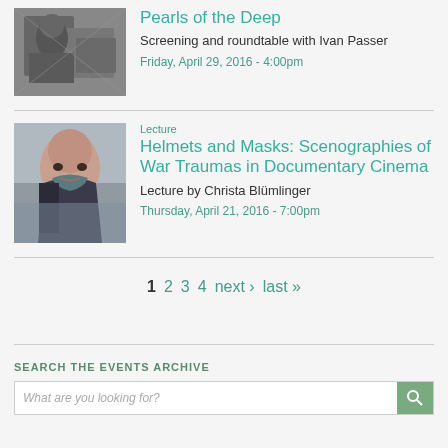[Figure (photo): Black and white photo of a person working at what appears to be a machine or typewriter]
Pearls of the Deep
Screening and roundtable with Ivan Passer
Friday, April 29, 2016 - 4:00pm
[Figure (photo): Color photo of a woman with dark curly hair looking at camera]
Lecture
Helmets and Masks: Scenographies of War Traumas in Documentary Cinema
Lecture by Christa Blümlinger
Thursday, April 21, 2016 - 7:00pm
1  2  3  4  next ›  last »
SEARCH THE EVENTS ARCHIVE